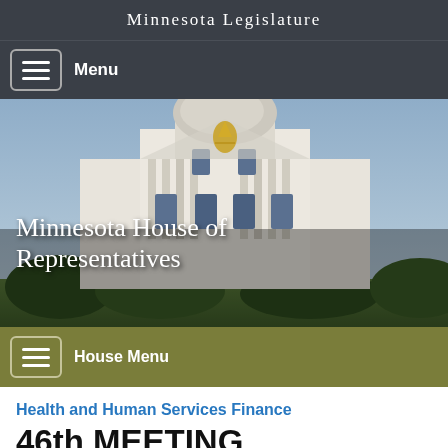Minnesota Legislature
Menu
[Figure (photo): Photo of the Minnesota State Capitol building dome showing white stone architecture with columns and arched windows; golden decorative element visible; trees at bottom]
Minnesota House of Representatives
House Menu
Health and Human Services Finance
46th MEETING
2017-2018 Regular Session - Tuesday, March 20,